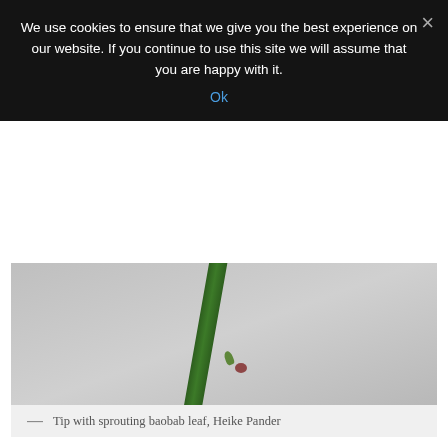We use cookies to ensure that we give you the best experience on our website. If you continue to use this site we will assume that you are happy with it.
Ok
[Figure (photo): Close-up photo of a green baobab stem/branch tip with a small reddish detail, against a grey background. The stem is diagonal.]
Tip with sprouting baobab leaf, Heike Pander
Shape of baobab leaves
The leaf shape of the baobabs in pots is quite interesting. Usually, the first round that shows is single leaves which I consider normal. Even the big old trees behave like that. Only the second generation of leaves in one season consists of two, three or even more leaf parts. The five-part